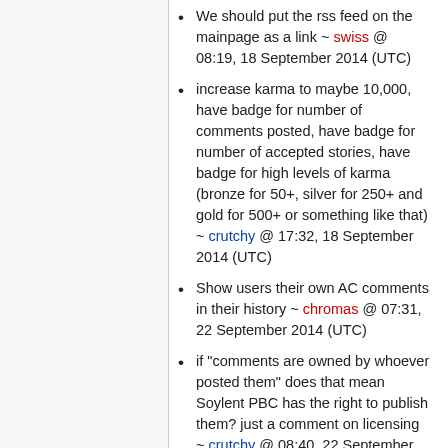We should put the rss feed on the mainpage as a link ~ swiss @ 08:19, 18 September 2014 (UTC)
increase karma to maybe 10,000, have badge for number of comments posted, have badge for number of accepted stories, have badge for high levels of karma (bronze for 50+, silver for 250+ and gold for 500+ or something like that) ~ crutchy @ 17:32, 18 September 2014 (UTC)
Show users their own AC comments in their history ~ chromas @ 07:31, 22 September 2014 (UTC)
if "comments are owned by whoever posted them" does that mean Soylent PBC has the right to publish them? just a comment on licensing ~ crutchy @ 08:40, 22 September 2014 (UTC)